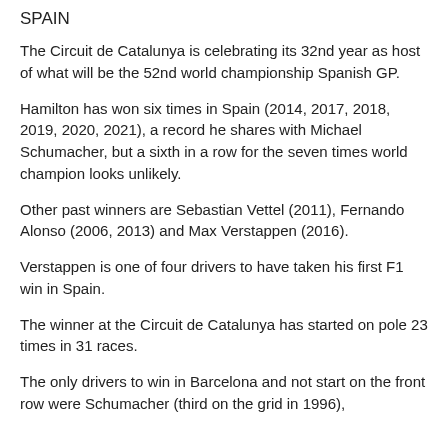SPAIN
The Circuit de Catalunya is celebrating its 32nd year as host of what will be the 52nd world championship Spanish GP.
Hamilton has won six times in Spain (2014, 2017, 2018, 2019, 2020, 2021), a record he shares with Michael Schumacher, but a sixth in a row for the seven times world champion looks unlikely.
Other past winners are Sebastian Vettel (2011), Fernando Alonso (2006, 2013) and Max Verstappen (2016).
Verstappen is one of four drivers to have taken his first F1 win in Spain.
The winner at the Circuit de Catalunya has started on pole 23 times in 31 races.
The only drivers to win in Barcelona and not start on the front row were Schumacher (third on the grid in 1996),